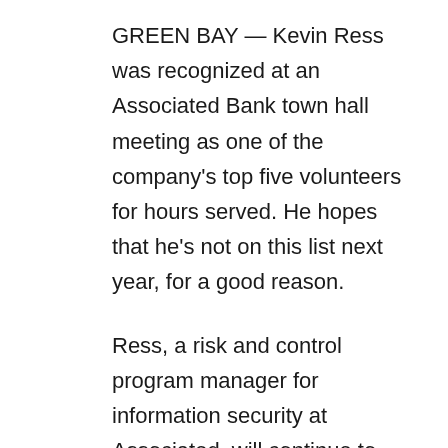GREEN BAY — Kevin Ress was recognized at an Associated Bank town hall meeting as one of the company's top five volunteers for hours served. He hopes that he's not on this list next year, for a good reason.
Ress, a risk and control program manager for information security at Associated, will continue to serve in ministry for St. Norbert College Parish, De Pere, and in a number community outreach efforts, but plans to cut back on others.
“It’s all part of my strategy,” he said. “There are times when you need to reassess your prayer life and those priorities; back down and have a more